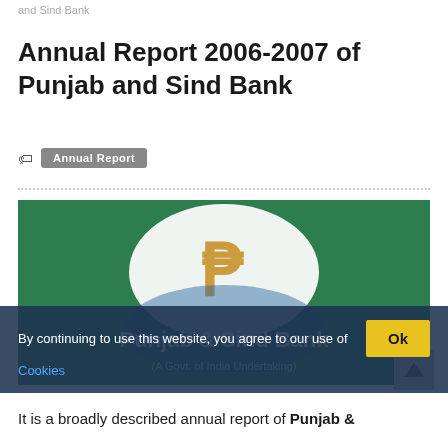and Sind Bank
Annual Report 2006-2007 of Punjab and Sind Bank
Annual Report
[Figure (photo): Annual report cover of Punjab & Sind Bank showing bank logo (golden P&B letters on white oval) on green background, with text 'Punjab & Sind Bank' and '(A Govt. of India Undertaking)' visible, partially overlaid by a cookie consent banner.]
By continuing to use this website, you agree to our use of Cookies
It is a broadly described annual report of Punjab &